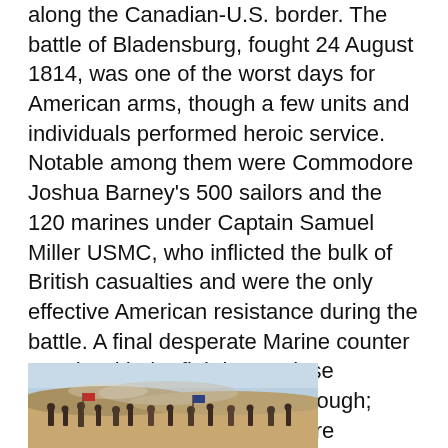along the Canadian-U.S. border. The battle of Bladensburg, fought 24 August 1814, was one of the worst days for American arms, though a few units and individuals performed heroic service. Notable among them were Commodore Joshua Barney's 500 sailors and the 120 marines under Captain Samuel Miller USMC, who inflicted the bulk of British casualties and were the only effective American resistance during the battle. A final desperate Marine counter attack, with the fighting at close quarters, however was not enough; Barney and Miller's forces were overrun. In all of 114 marines, 11 were killed and 16 wounded. During the battle Captain Miller's arm was badly wounded, for his gallant service in action, Miller was brevetted to the rank of Major USMC.[41]
[Figure (illustration): Partial view of a battle scene painting, showing soldiers in combat, likely depicting the Battle of Bladensburg. Colors include blue sky, tan/brown ground, and dark figures of soldiers.]